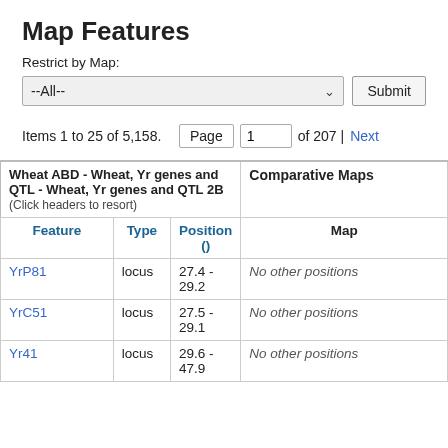Map Features
Restrict by Map:
--All--  Submit
Items 1 to 25 of 5,158.  Page  1  of 207 | Next
| Wheat ABD - Wheat, Yr genes and QTL - Wheat, Yr genes and QTL 2B (Click headers to resort) | Comparative Maps |
| --- | --- |
| Feature  Type  Position () | Map |
| YrP81  locus  27.4 - 29.2 | No other positions |
| YrC51  locus  27.5 - 29.1 | No other positions |
| Yr41  locus  29.6 - 47.9 | No other positions |